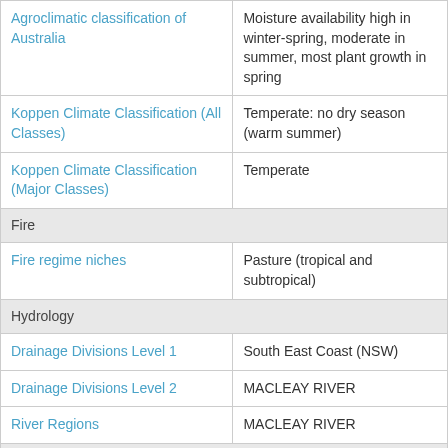| Agroclimatic classification of Australia | Moisture availability high in winter-spring, moderate in summer, most plant growth in spring |
| Koppen Climate Classification (All Classes) | Temperate: no dry season (warm summer) |
| Koppen Climate Classification (Major Classes) | Temperate |
| Fire |  |
| Fire regime niches | Pasture (tropical and subtropical) |
| Hydrology |  |
| Drainage Divisions Level 1 | South East Coast (NSW) |
| Drainage Divisions Level 2 | MACLEAY RIVER |
| River Regions | MACLEAY RIVER |
| Marine |  |
| Marine Ecoregions of the World | Manning-Hawkesbury |